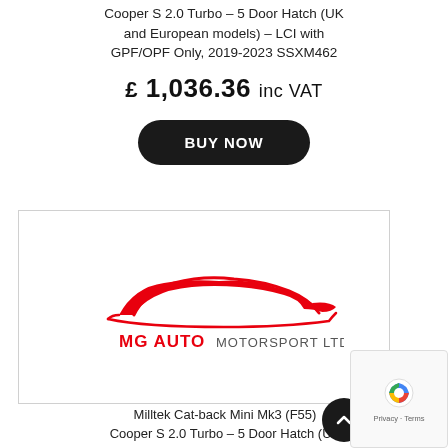Cooper S 2.0 Turbo – 5 Door Hatch (UK and European models) – LCI with GPF/OPF Only, 2019-2023 SSXM462
£ 1,036.36 inc VAT
BUY NOW
[Figure (logo): MG Auto Motorsport Ltd logo with red car silhouette above red and grey text]
Milltek Cat-back Mini Mk3 (F55) Cooper S 2.0 Turbo – 5 Door Hatch (UK